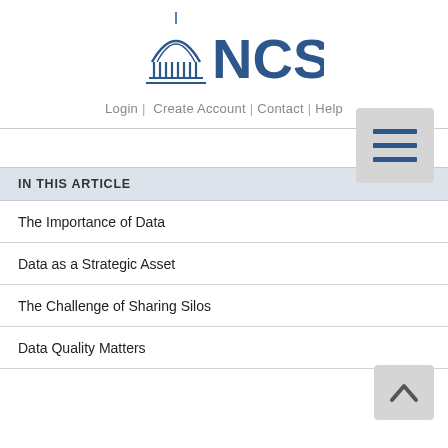[Figure (logo): NCSL logo with capitol dome icon in dark blue]
Login | Create Account | Contact | Help
[Figure (other): Hamburger menu button (three horizontal lines) on grey background]
IN THIS ARTICLE
The Importance of Data
Data as a Strategic Asset
The Challenge of Sharing Silos
Data Quality Matters